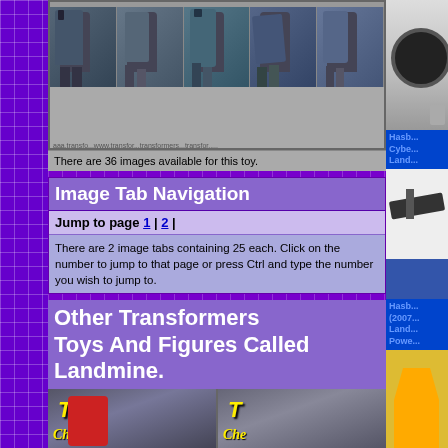[Figure (photo): Strip of multiple robot/transformer toy figure images across top]
There are 36 images available for this toy.
Image Tab Navigation
Jump to page 1 | 2 |
There are 2 image tabs containing 25 each. Click on the number to jump to that page or press Ctrl and type the number you wish to jump to.
Other Transformers Toys And Figures Called Landmine.
[Figure (photo): Two thumbnail images of other Transformers toys called Landmine at bottom]
[Figure (photo): Right sidebar: Hasbro Cybertron Landmine toy thumbnail]
Hasb... Cybe... Land...
[Figure (photo): Right sidebar: gun accessory thumbnail]
Hasb... (2007... Land... Powe...